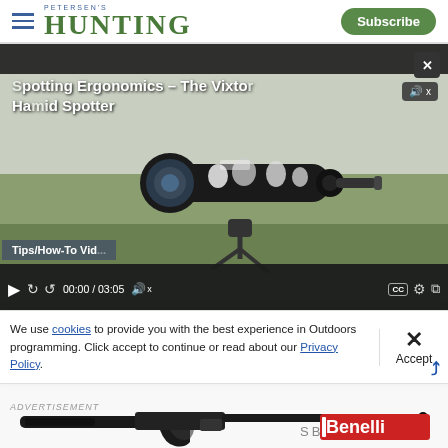PETERSEN'S HUNTING | Subscribe
[Figure (screenshot): Embedded video player showing a spotting scope on a tripod in a field. Video title overlay reads 'Spotting Ergonomics – The Vixtor Hamid Spotter'. Controls show 00:00 / 03:05. Tips/How-To Video badge visible.]
When to Draw Your Bow: Important
We use cookies to provide you with the best experience in Outdoors programming. Click accept to continue or read about our Privacy Policy.
Advertisement
[Figure (photo): Benelli SBE3 shotgun advertisement showing a black semi-automatic shotgun with the Benelli logo and SBE3 model text.]